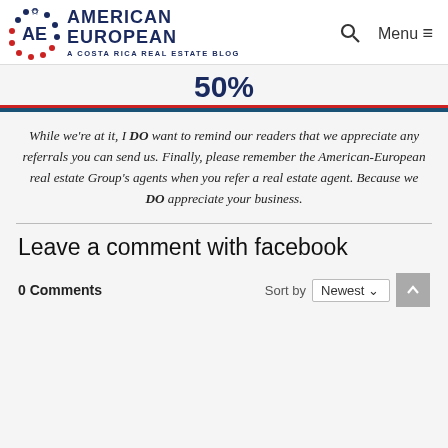[Figure (logo): American European – A Costa Rica Real Estate Blog logo with AE initials and decorative dots in red/navy]
50%
While we're at it, I DO want to remind our readers that we appreciate any referrals you can send us. Finally, please remember the American-European real estate Group's agents when you refer a real estate agent. Because we DO appreciate your business.
Leave a comment with facebook
0 Comments
Sort by Newest